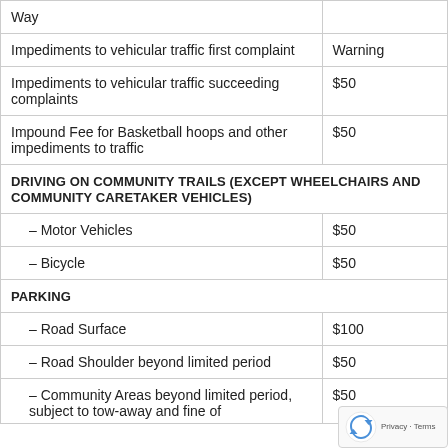| Description | Fine |
| --- | --- |
| Way |  |
| Impediments to vehicular traffic first complaint | Warning |
| Impediments to vehicular traffic succeeding complaints | $50 |
| Impound Fee for Basketball hoops and other impediments to traffic | $50 |
| DRIVING ON COMMUNITY TRAILS (EXCEPT WHEELCHAIRS AND COMMUNITY CARETAKER VEHICLES) |  |
| – Motor Vehicles | $50 |
| – Bicycle | $50 |
| PARKING |  |
| – Road Surface | $100 |
| – Road Shoulder beyond limited period | $50 |
| – Community Areas beyond limited period, subject to tow-away and fine of | $50 |